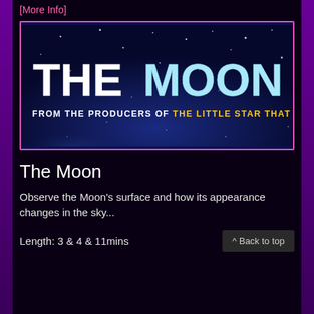[More Info]
[Figure (illustration): Movie title card for 'The Moon' — dark navy starfield background with large bold white and light-blue text 'THE MOON' and subtitle 'FROM THE PRODUCERS OF THE LITTLE STAR THAT COULD' in white and yellow text]
The Moon
Observe the Moon's surface and how its appearance changes in the sky...
Length: 3 & 4 & 11 mins
^ Back to top